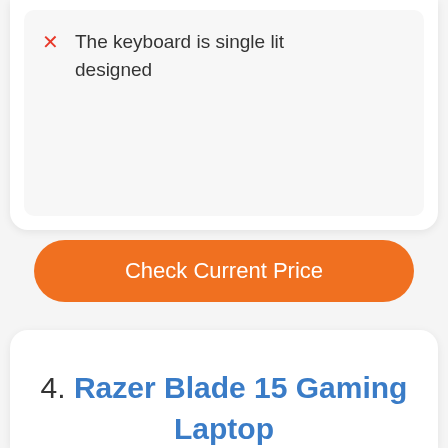The keyboard is single lit designed
Check Current Price
4. Razer Blade 15 Gaming Laptop
Moving on to a product of Razer, say hello